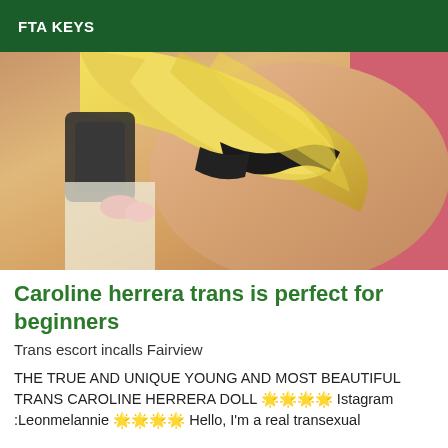FTA KEYS
[Figure (photo): Photo of a blonde person from behind/side angle, wearing a black bra, with long blonde hair covering their back, selfie style image with warm tones]
Caroline herrera trans is perfect for beginners
Trans escort incalls Fairview
THE TRUE AND UNIQUE YOUNG AND MOST BEAUTIFUL TRANS CAROLINE HERRERA DOLL 🌟🌟🌟🌟 Istagram :Leonmelannie 🌟🌟🌟🌟 Hello, I'm a real transexual